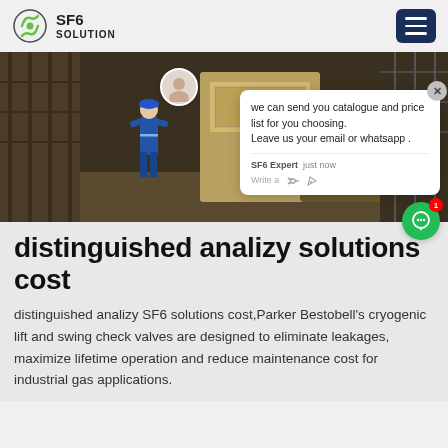SF6 SOLUTION
[Figure (photo): Industrial worker in blue coveralls and hard hat walking beside SF6 gas equipment and vehicles at an industrial site]
distinguished analizy solutions cost
distinguished analizy SF6 solutions cost,Parker Bestobell's cryogenic lift and swing check valves are designed to eliminate leakages, maximize lifetime operation and reduce maintenance cost for industrial gas applications.